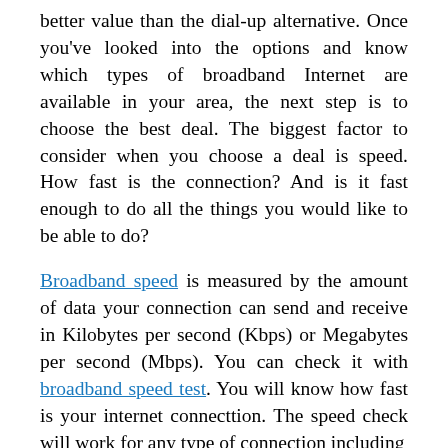better value than the dial-up alternative. Once you've looked into the options and know which types of broadband Internet are available in your area, the next step is to choose the best deal. The biggest factor to consider when you choose a deal is speed. How fast is the connection? And is it fast enough to do all the things you would like to be able to do?
Broadband speed is measured by the amount of data your connection can send and receive in Kilobytes per second (Kbps) or Megabytes per second (Mbps). You can check it with broadband speed test. You will know how fast is your internet connecttion. The speed check will work for any type of connection including